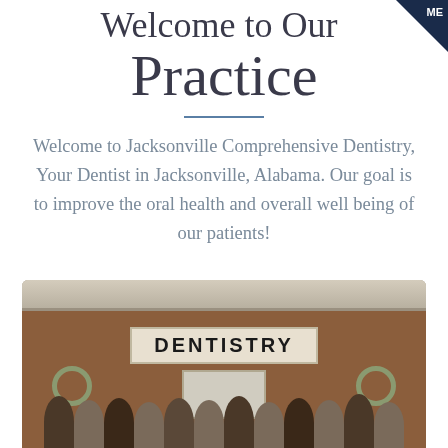Welcome to Our Practice
Welcome to Jacksonville Comprehensive Dentistry, Your Dentist in Jacksonville, Alabama. Our goal is to improve the oral health and overall well being of our patients!
[Figure (photo): Group photo of dental practice staff standing in front of brick building with DENTISTRY sign, flanked by floral wreaths]